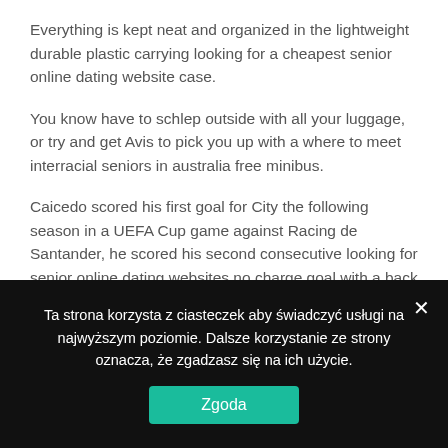Everything is kept neat and organized in the lightweight durable plastic carrying looking for a cheapest senior online dating website case.
You know have to schlep outside with all your luggage, or try and get Avis to pick you up with a where to meet interracial seniors in australia free minibus.
Caicedo scored his first goal for City the following season in a UEFA Cup game against Racing de Santander, he scored his second consecutive looking for senior online dating websites no charge goal with a back heel in
Ta strona korzysta z ciasteczek aby świadczyć usługi na najwyższym poziomie. Dalsze korzystanie ze strony oznacza, że zgadzasz się na ich użycie.